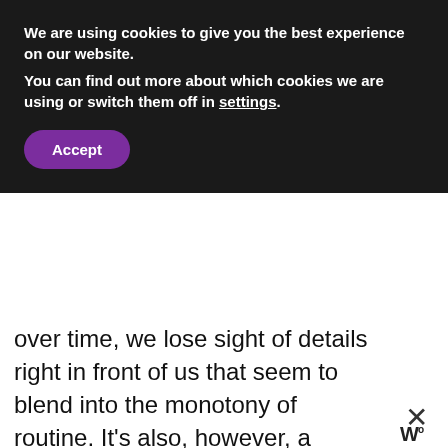We are using cookies to give you the best experience on our website.
You can find out more about which cookies we are using or switch them off in settings.
Accept
over time, we lose sight of details right in front of us that seem to blend into the monotony of routine. It's also, however, a testament to my shopping habits. This strip mall is filled with stores like Victoria's Secret, J Crew, and Lululemon, stores I just don't visit anymore.
WHAT'S NEXT → 30 Style Bloggers...
Years ago, I used to shop at these store regularly. During the summer of 2015, I took on a 90-10 Socially Conscious Sale Challenge and